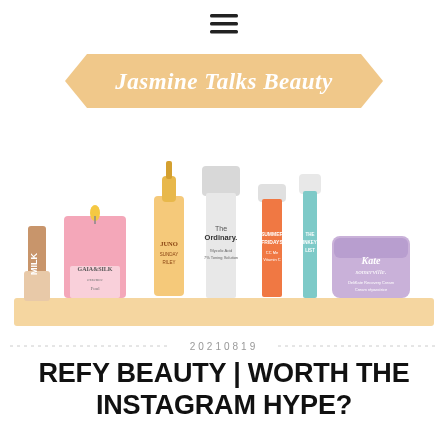[Figure (logo): Hamburger menu icon (three horizontal lines) centered at top]
[Figure (illustration): Jasmine Talks Beauty blog logo on peach/gold parallelogram banner with italic white serif text]
[Figure (illustration): Collection of beauty/skincare product illustrations on a peach shelf: Milk Makeup tube, GAIA&SILK pink candle, Sunday Riley JUNO oil dropper bottle, The Ordinary cream tube, Summer Fridays orange serum, The Inkey List teal dropper, Kate Somerville purple cream jar]
20210819
REFY BEAUTY | WORTH THE INSTAGRAM HYPE?